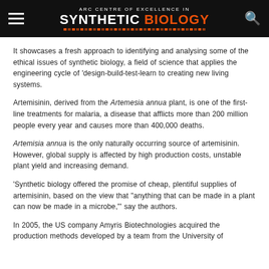ARC CENTRE OF EXCELLENCE IN SYNTHETIC BIOLOGY
It showcases a fresh approach to identifying and analysing some of the ethical issues of synthetic biology, a field of science that applies the engineering cycle of 'design-build-test-learn to creating new living systems.
Artemisinin, derived from the Artemesia annua plant, is one of the first-line treatments for malaria, a disease that afflicts more than 200 million people every year and causes more than 400,000 deaths.
Artemisia annua is the only naturally occurring source of artemisinin. However, global supply is affected by high production costs, unstable plant yield and increasing demand.
'Synthetic biology offered the promise of cheap, plentiful supplies of artemisinin, based on the view that "anything that can be made in a plant can now be made in a microbe,"' say the authors.
In 2005, the US company Amyris Biotechnologies acquired the production methods developed by a team from the University of